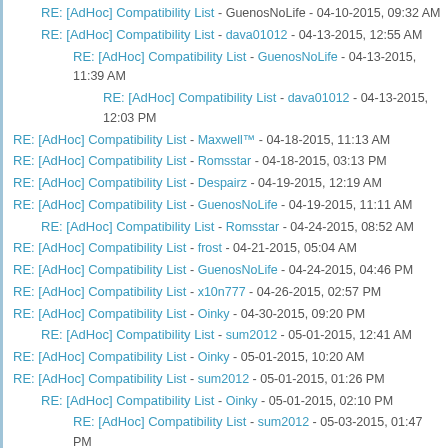RE: [AdHoc] Compatibility List - GuenosNoLife - 04-10-2015, 09:32 AM
RE: [AdHoc] Compatibility List - dava01012 - 04-13-2015, 12:55 AM
RE: [AdHoc] Compatibility List - GuenosNoLife - 04-13-2015, 11:39 AM
RE: [AdHoc] Compatibility List - dava01012 - 04-13-2015, 12:03 PM
RE: [AdHoc] Compatibility List - Maxwell™ - 04-18-2015, 11:13 AM
RE: [AdHoc] Compatibility List - Romsstar - 04-18-2015, 03:13 PM
RE: [AdHoc] Compatibility List - Despairz - 04-19-2015, 12:19 AM
RE: [AdHoc] Compatibility List - GuenosNoLife - 04-19-2015, 11:11 AM
RE: [AdHoc] Compatibility List - Romsstar - 04-24-2015, 08:52 AM
RE: [AdHoc] Compatibility List - frost - 04-21-2015, 05:04 AM
RE: [AdHoc] Compatibility List - GuenosNoLife - 04-24-2015, 04:46 PM
RE: [AdHoc] Compatibility List - x10n777 - 04-26-2015, 02:57 PM
RE: [AdHoc] Compatibility List - Oinky - 04-30-2015, 09:20 PM
RE: [AdHoc] Compatibility List - sum2012 - 05-01-2015, 12:41 AM
RE: [AdHoc] Compatibility List - Oinky - 05-01-2015, 10:20 AM
RE: [AdHoc] Compatibility List - sum2012 - 05-01-2015, 01:26 PM
RE: [AdHoc] Compatibility List - Oinky - 05-01-2015, 02:10 PM
RE: [AdHoc] Compatibility List - sum2012 - 05-03-2015, 01:47 PM
RE: [AdHoc] Compatibility List - GuenosNoLife - 05-01-2015, 11:05 PM
RE: [AdHoc] Compatibility List - paulaz2 - 05-04-2015, 07:58 PM
RE: [AdHoc] Compatibility List - Izumi - 05-06-2015, 07:10 PM
RE: [AdHoc] Compatibility List - sum2012 - 05-06-2015, 09:17 PM
RE: [AdHoc] Compatibility List - paulaz2 - 05-08-2015, 05:46 AM